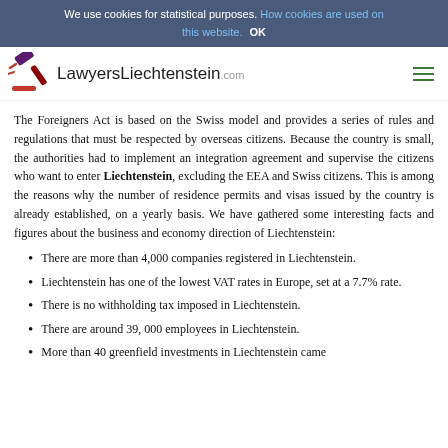We use cookies for statistical purposes. How cookies are used on this website. OK
[Figure (logo): LawyersLiechtenstein.com logo with gavel icon]
The Foreigners Act is based on the Swiss model and provides a series of rules and regulations that must be respected by overseas citizens. Because the country is small, the authorities had to implement an integration agreement and supervise the citizens who want to enter Liechtenstein, excluding the EEA and Swiss citizens. This is among the reasons why the number of residence permits and visas issued by the country is already established, on a yearly basis. We have gathered some interesting facts and figures about the business and economy direction of Liechtenstein:
There are more than 4,000 companies registered in Liechtenstein.
Liechtenstein has one of the lowest VAT rates in Europe, set at a 7.7% rate.
There is no withholding tax imposed in Liechtenstein.
There are around 39, 000 employees in Liechtenstein.
More than 40 greenfield investments in Liechtenstein came...